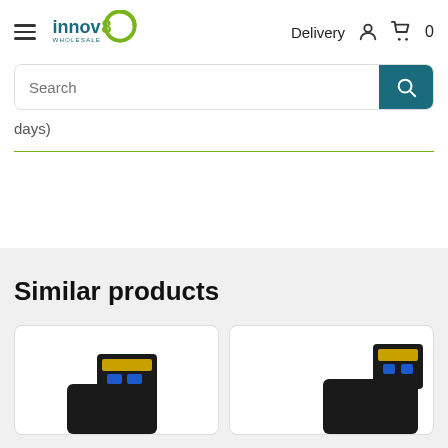[Figure (logo): Innov8 Wholesale logo - blue and green text with circular swoosh]
Delivery
days)
Similar products
[Figure (photo): HDMI/USB connector adapter with blue and gold contacts on black body]
[Figure (photo): Right-angle USB/HDMI cable connector with yellow and blue accents on black body]